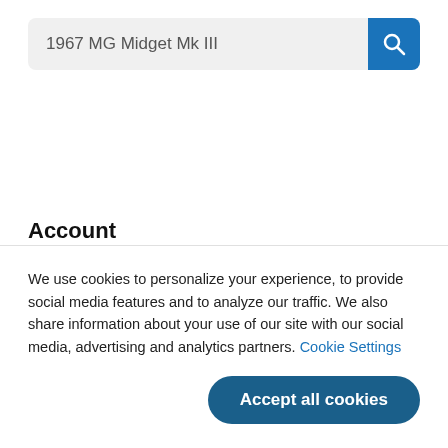[Figure (screenshot): Search bar with text '1967 MG Midget Mk III' and a blue search button with magnifying glass icon]
Account
Manage account
Bi...
We use cookies to personalize your experience, to provide social media features and to analyze our traffic. We also share information about your use of our site with our social media, advertising and analytics partners. Cookie Settings
Accept all cookies